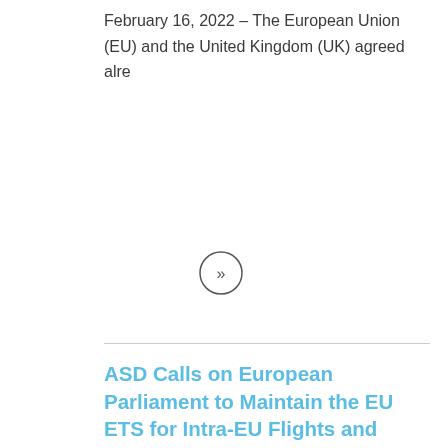February 16, 2022 – The European Union (EU) and the United Kingdom (UK) agreed alre
[Figure (other): A circular arrow button icon with double chevron (») pointing right]
ASD Calls on European Parliament to Maintain the EU ETS for Intra-EU Flights and CORSIA for International Flights
European Parliament will vote on a report which proposes to extend the EU